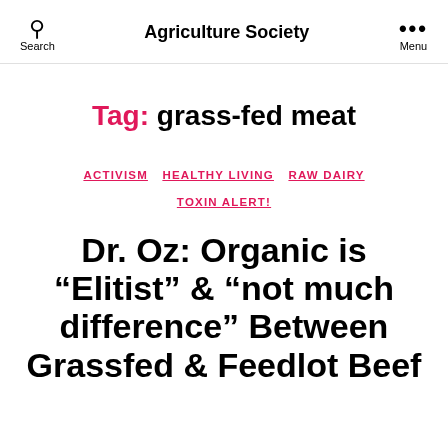Agriculture Society
Tag: grass-fed meat
ACTIVISM  HEALTHY LIVING  RAW DAIRY  TOXIN ALERT!
Dr. Oz: Organic is “Elitist” & “not much difference” Between Grassfed & Feedlot Beef